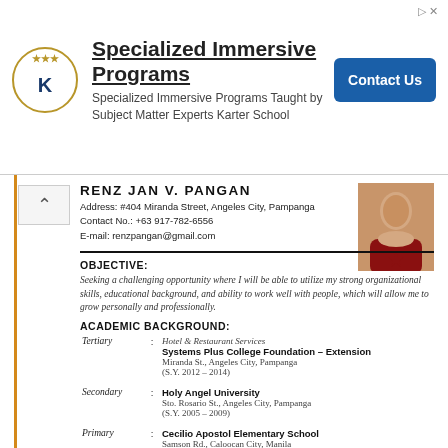[Figure (infographic): Advertisement banner for Karter School Specialized Immersive Programs with logo, text, and Contact Us button]
RENZ JAN V. PANGAN
Address: #404 Miranda Street, Angeles City, Pampanga
Contact No.: +63 917-782-6556
E-mail: renzpangan@gmail.com
OBJECTIVE:
Seeking a challenging opportunity where I will be able to utilize my strong organizational skills, educational background, and ability to work well with people, which will allow me to grow personally and professionally.
ACADEMIC BACKGROUND:
Tertiary : Hotel & Restaurant Services
Systems Plus College Foundation – Extension
Miranda St., Angeles City, Pampanga
(S.Y. 2012 – 2014)
Secondary : Holy Angel University
Sto. Rosario St., Angeles City, Pampanga
(S.Y. 2005 – 2009)
Primary : Cecilio Apostol Elementary School
Samson Rd., Caloocan City, Manila
(S.Y. 1999 – 2005)
WORK EXPERIENCE:
Dining Crew
Jollibee
Neru Mall, Angeles City, Pampanga